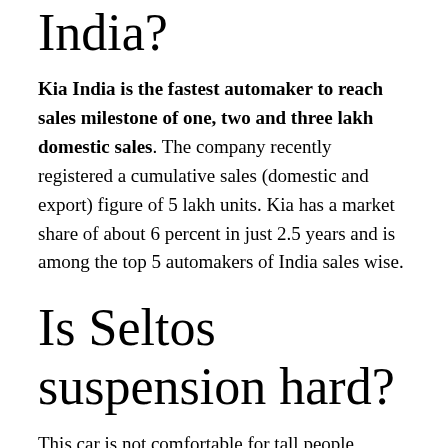India?
Kia India is the fastest automaker to reach sales milestone of one, two and three lakh domestic sales. The company recently registered a cumulative sales (domestic and export) figure of 5 lakh units. Kia has a market share of about 6 percent in just 2.5 years and is among the top 5 automakers of India sales wise.
Is Seltos suspension hard?
This car is not comfortable for tall people,